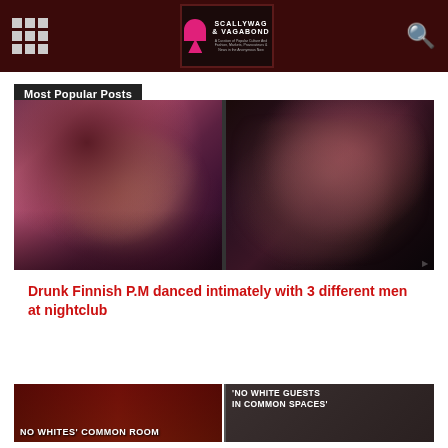Scallywag & Vagabond
Most Popular Posts
[Figure (photo): Two nightclub scene photos side by side: left shows a smiling woman with dark hair under pink/red lighting; right shows a couple dancing/kissing in a dark nightclub setting]
Drunk Finnish P.M danced intimately with 3 different men at nightclub
[Figure (photo): Bottom teaser strip showing two news story thumbnails: left reads 'NO WHITES' COMMON ROOM', right reads 'NO WHITE GUESTS IN COMMON SPACES']